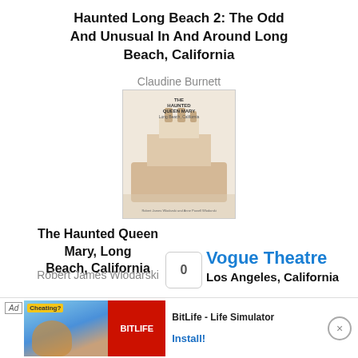Haunted Long Beach 2: The Odd And Unusual In And Around Long Beach, California
Claudine Burnett
[Figure (photo): Book cover of The Haunted Queen Mary, Long Beach, California showing a ship illustration]
The Haunted Queen Mary, Long Beach, California
Robert James Wlodarski
Vogue Theatre
Los Angeles, California
[Figure (photo): Advertisement: BitLife - Life Simulator app ad with blue and orange background and BitLife logo]